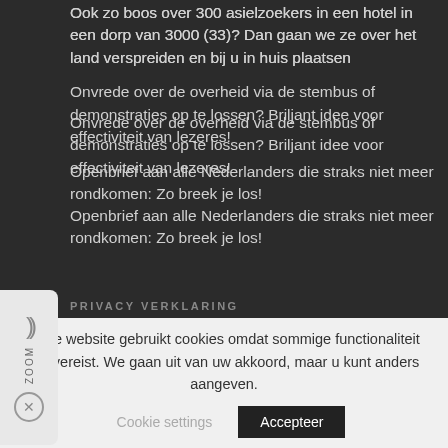Ook zo boos over 300 asielzoekers in een hotel in een dorp van 3000 (33)? Dan gaan we ze over het land verspreiden en bij u in huis plaatsen
Onvrede over de overheid via de stembus of demonstraties op te lossen? Briljant idee voor effectiviteit van lezeres!
Openbrief aan alle Nederlanders die straks niet meer rondkomen: Zo breek je los!
PRIVACY VERKLARING
privacy verklaring
BANKREKENING
Deze website gebruikt cookies omdat sommige functionaliteit dat vereist. We gaan uit van uw akkoord, maar u kunt anders aangeven.